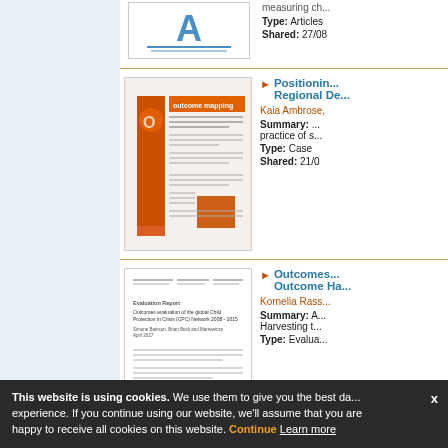[Figure (screenshot): Partial thumbnail of a document with a large letter A logo, partially visible at top]
measuring ch...
Type: Articles
Shared: 27/08
[Figure (screenshot): Thumbnail of outcome mapping document with orange cover design]
Positionin... Regional De...
Kaia Ambrose,
Summary: ... practice of s...
Type: Case
Shared: 21/0
[Figure (screenshot): Thumbnail of an evaluation report document - Outcomes evaluation of the global Child Protection in Crisis (CPC) Network 2008-2015]
Outcomes... Outcome Ha...
Kornelia Rass...
Summary: A... Harvesting t...
Type: Evalua...
This website is using cookies. We use them to give you the best experience. If you continue using our website, we'll assume that you are happy to receive all cookies on this website. Continue Learn more